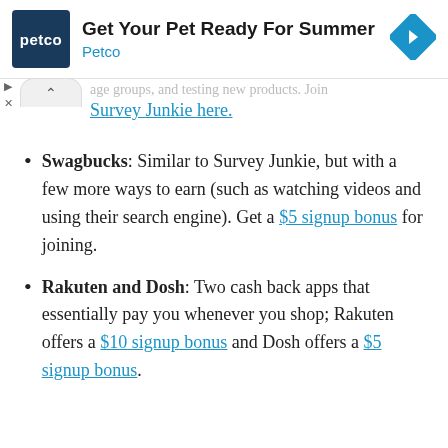[Figure (other): Petco advertisement banner with logo, headline 'Get Your Pet Ready For Summer', and a blue navigation arrow icon]
…age groups, and testing new products. Join Survey Junkie here.
Swagbucks: Similar to Survey Junkie, but with a few more ways to earn (such as watching videos and using their search engine). Get a $5 signup bonus for joining.
Rakuten and Dosh: Two cash back apps that essentially pay you whenever you shop; Rakuten offers a $10 signup bonus and Dosh offers a $5 signup bonus.